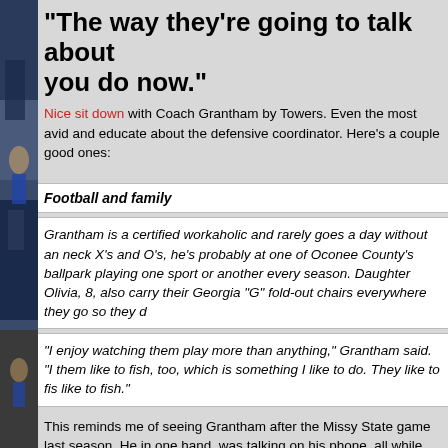[Figure (photo): Vertical sidebar photo of football players in action, blue uniforms]
"The way they're going to talk about you do now."
Nice sit down with Coach Grantham by Towers. Even the most avid and educated about the defensive coordinator. Here's a couple good ones:
Football and family
Grantham is a certified workaholic and rarely goes a day without an neck X's and O's, he's probably at one of Oconee County's ballpark playing one sport or another every season. Daughter Olivia, 8, also carry their Georgia "G" fold-out chairs everywhere they go so they d
"I enjoy watching them play more than anything," Grantham said. "I them like to fish, too, which is something I like to do. They like to fis like to fish."
This reminds me of seeing Grantham after the Missy State game last season. He in one hand, was talking on his phone, all while refereeing a 2-hand touch parki with the coaches' kids. It's one thing to be a workaholic, it's something else to be multitask.